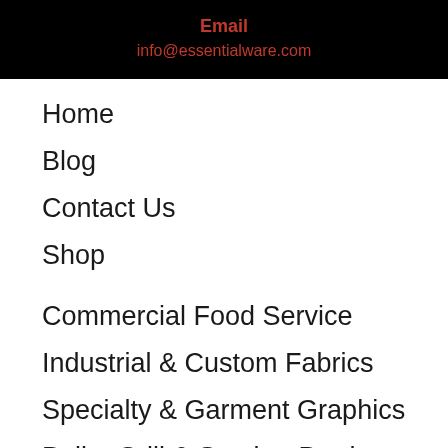Email
info@essentialware.com
Home
Blog
Contact Us
Shop
Commercial Food Service
Industrial & Custom Fabrics
Specialty & Garment Graphics
Pellet Grill & Smoker Products
My account
Checkout